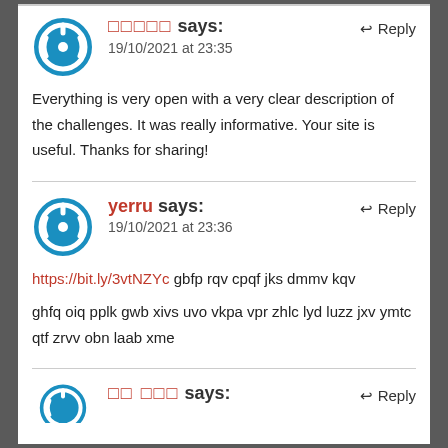□□□□□ says: 19/10/2021 at 23:35
Everything is very open with a very clear description of the challenges. It was really informative. Your site is useful. Thanks for sharing!
yerru says: 19/10/2021 at 23:36
https://bit.ly/3vtNZYc gbfp rqv cpqf jks dmmv kqv
ghfq oiq pplk gwb xivs uvo vkpa vpr zhlc lyd luzz jxv ymtc qtf zrvv obn laab xme
□□ □□□ says: